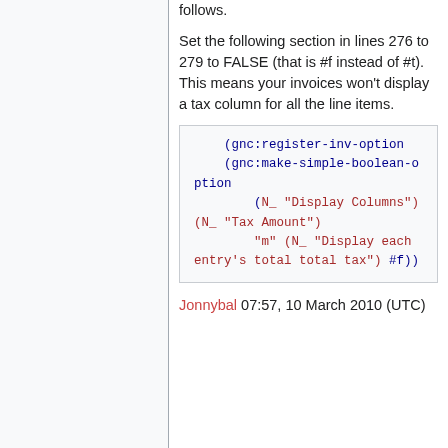follows.
Set the following section in lines 276 to 279 to FALSE (that is #f instead of #t). This means your invoices won't display a tax column for all the line items.
Jonnybal 07:57, 10 March 2010 (UTC)